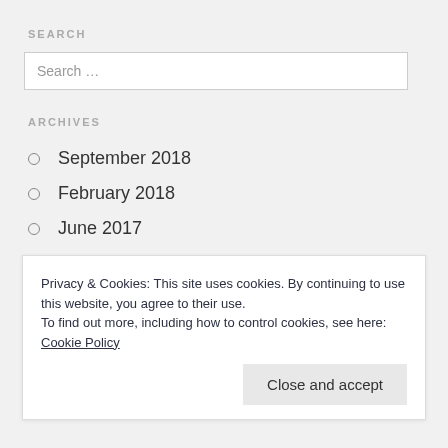SEARCH
Search …
ARCHIVES
September 2018
February 2018
June 2017
May 2017
March 2017
February 2017
Privacy & Cookies: This site uses cookies. By continuing to use this website, you agree to their use. To find out more, including how to control cookies, see here: Cookie Policy
Close and accept